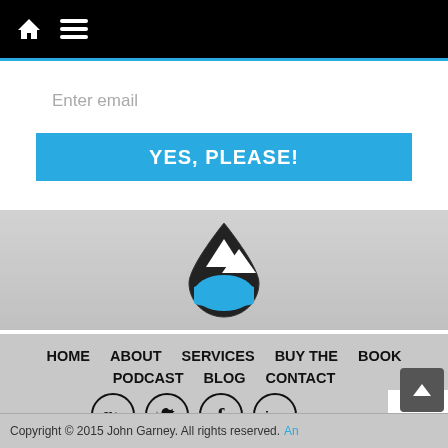[Figure (screenshot): Website navigation bar with home icon and hamburger menu icon on black background]
Enter email
YES, PLEASE!
[Figure (logo): Water/mountain drop logo icon - drop shape containing mountain peaks and blue water waves]
HOME   ABOUT   SERVICES   BUY THE BOOK   PODCAST   BLOG   CONTACT
[Figure (infographic): Social media icons in circles: Google+, Twitter, Facebook, LinkedIn]
Copyright © 2015 John Garney. All rights reserved. As an